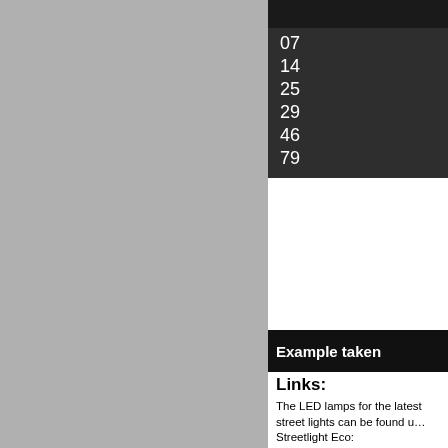[Figure (photo): Gray panel occupying the left portion of the page]
07
14
25
29
46
79
Example taken
Links:
The LED lamps for the latest street lights can be found under Streetlight Eco:
Link to 2K Retfit Streetlight
Find suitable lighting poles lighting poles:
Link model group lighting p